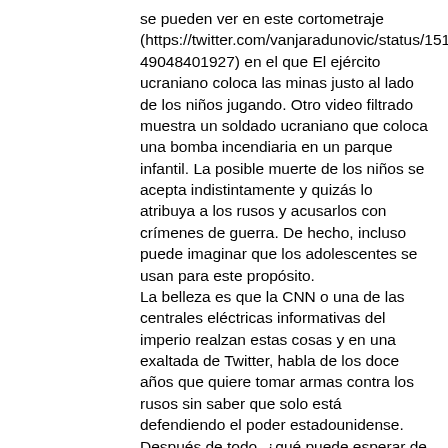se pueden ver en este cortometraje (https://twitter.com/vanjaradunovic/status/151347674 9048401927) en el que El ejército ucraniano coloca las minas justo al lado de los niños jugando. Otro video filtrado muestra un soldado ucraniano que coloca una bomba incendiaria en un parque infantil. La posible muerte de los niños se acepta indistintamente y quizás lo atribuya a los rusos y acusarlos con crímenes de guerra. De hecho, incluso puede imaginar que los adolescentes se usan para este propósito. La belleza es que la CNN o una de las centrales eléctricas informativas del imperio realzan estas cosas y en una exaltada de Twitter, habla de los doce años que quiere tomar armas contra los rusos sin saber que solo está defendiendo el poder estadounidense. Después de todo, ¿qué puede esperar de un altavoz fuerte de 24 horas que forma parte del mismo poder que consideró la muerte de 500 mil niños en Irak como un precio justo para deshacerse de un régimen que no obedeció a Washington? Entonces, a estos periodistas y a todos los europeos pacifistas europeos que tienen esta fuente tan maravillosa de inspiración, de niños ucranianos que no se preocupan